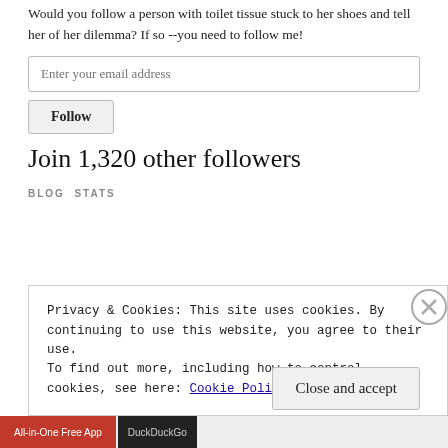Would you follow a person with toilet tissue stuck to her shoes and tell her of her dilemma? If so --you need to follow me!
Enter your email address
Follow
Join 1,320 other followers
BLOG STATS
Privacy & Cookies: This site uses cookies. By continuing to use this website, you agree to their use.
To find out more, including how to control cookies, see here: Cookie Policy
Close and accept